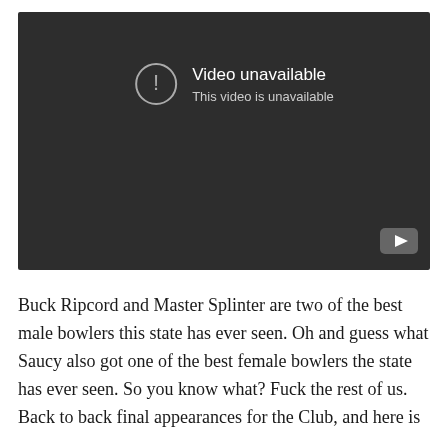[Figure (screenshot): YouTube embedded video player showing 'Video unavailable — This video is unavailable' error message with a YouTube logo button in the bottom-right corner on a dark background.]
Buck Ripcord and Master Splinter are two of the best male bowlers this state has ever seen. Oh and guess what Saucy also got one of the best female bowlers the state has ever seen. So you know what? Fuck the rest of us. Back to back final appearances for the Club, and here is